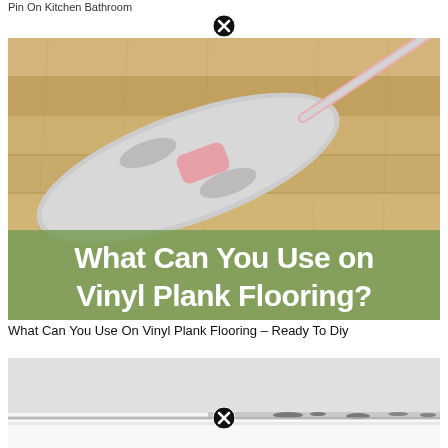Pin On Kitchen Bathroom
[Figure (photo): Photo of a pink flat mop with a microfiber pad on a light wood vinyl plank floor, with a green banner overlay reading 'What Can You Use on Vinyl Plank Flooring?']
What Can You Use On Vinyl Plank Flooring – Ready To Diy
[Figure (photo): Photo of a bathtub edge with visible mold/mildew on caulk, partially visible close-up shot]